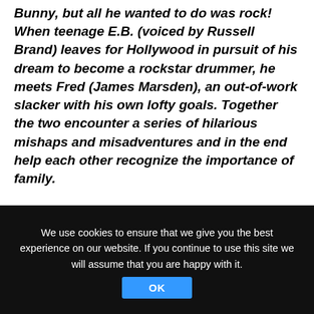Bunny, but all he wanted to do was rock! When teenage E.B. (voiced by Russell Brand) leaves for Hollywood in pursuit of his dream to become a rockstar drummer, he meets Fred (James Marsden), an out-of-work slacker with his own lofty goals. Together the two encounter a series of hilarious mishaps and misadventures and in the end help each other recognize the importance of family.
**LIMITED TIME SPECIAL OFFERS**
We use cookies to ensure that we give you the best experience on our website. If you continue to use this site we will assume that you are happy with it.